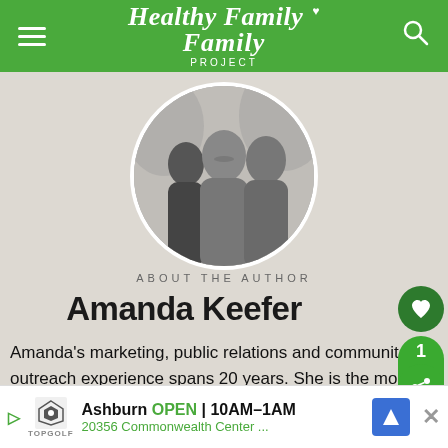Healthy Family Project
[Figure (photo): Circular black and white photo of three women/girls smiling together outdoors]
ABOUT THE AUTHOR
Amanda Keefer
Amanda's marketing, public relations and community outreach experience spans 20 years. She is the mom of two girls and two boxer dogs. You can hear her as Healthy Family Project podcast, find her cooking alongside
[Figure (screenshot): What's Next overlay showing: Do Kids Need More Protei...]
[Figure (screenshot): Ad banner: Topgolf Ashburn OPEN 10AM-1AM, 20356 Commonwealth Center...]